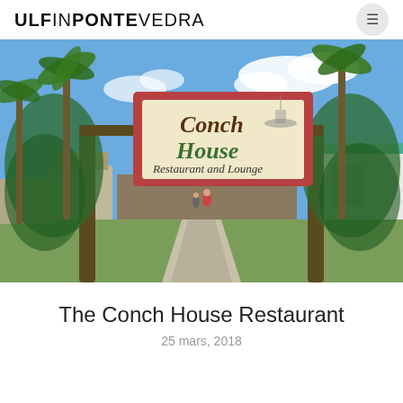ULFINPONTEVEDRA
[Figure (photo): Entrance to the Conch House Restaurant and Lounge, with a red-framed sign reading 'Conch House Restaurant and Lounge', flanked by palm trees and fishing net-wrapped posts, with a walkway leading inside.]
The Conch House Restaurant
25 mars, 2018